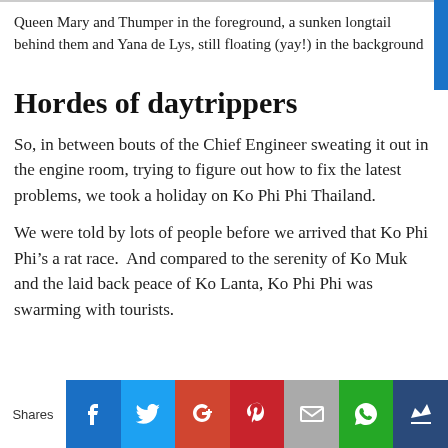Queen Mary and Thumper in the foreground, a sunken longtail behind them and Yana de Lys, still floating (yay!) in the background
Hordes of daytrippers
So, in between bouts of the Chief Engineer sweating it out in the engine room, trying to figure out how to fix the latest problems, we took a holiday on Ko Phi Phi Thailand.
We were told by lots of people before we arrived that Ko Phi Phi’s a rat race.  And compared to the serenity of Ko Muk and the laid back peace of Ko Lanta, Ko Phi Phi was swarming with tourists.
Shares | Facebook | Twitter | Google+ | Pinterest | Email | WhatsApp | Crown